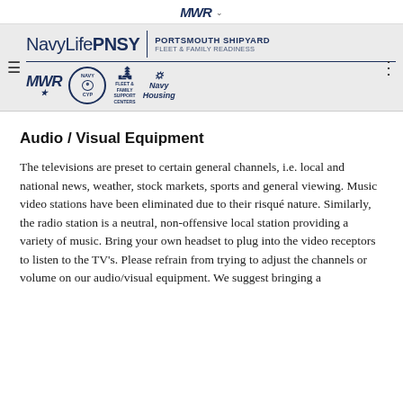MWR (logo with chevron)
[Figure (logo): Navy Life PNSY Portsmouth Shipyard Fleet & Family Readiness header with MWR, Navy CYP, Fleet & Family Support Centers, and Navy Housing sub-logos]
Audio / Visual Equipment
The televisions are preset to certain general channels, i.e. local and national news, weather, stock markets, sports and general viewing. Music video stations have been eliminated due to their risqué nature. Similarly, the radio station is a neutral, non-offensive local station providing a variety of music. Bring your own headset to plug into the video receptors to listen to the TV's. Please refrain from trying to adjust the channels or volume on our audio/visual equipment. We suggest bringing a